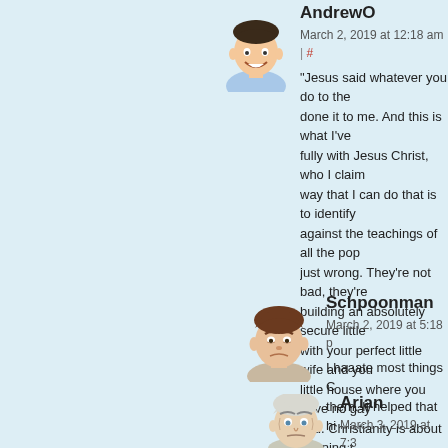[Figure (illustration): Cartoon avatar of AndrewO - young person with dark hair and hat, smiling]
AndrewO
March 2, 2019 at 12:18 am | #
"Jesus said whatever you do to the done it to me. And this is what I've fully with Jesus Christ, who I claim way that I can do that is to identify against the teachings of all the pop just wrong. They're not bad, they're building an absolutely secure little with your perfect little wife and you little house where you have no gay you. Christianity is about learning t loved the poor and Jesus loved the -Rich Mullins
[Figure (illustration): Cartoon avatar of Schpoonman - person with brown hair looking annoyed]
Schpoonman
March 2, 2019 at 5:18 pm
I haaate most things C them. It helped that hi
[Figure (illustration): Cartoon avatar of Arian - elderly man with white hair and stern expression]
Arian
March 3, 2019 at 7:3
My perspective as posters' sole asso one song we can't